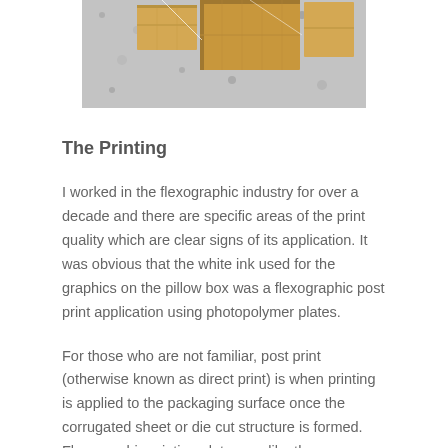[Figure (photo): Photograph of corrugated cardboard box structures or packaging pieces arranged on a granite surface, shot from above.]
The Printing
I worked in the flexographic industry for over a decade and there are specific areas of the print quality which are clear signs of its application. It was obvious that the white ink used for the graphics on the pillow box was a flexographic post print application using photopolymer plates.
For those who are not familiar, post print (otherwise known as direct print) is when printing is applied to the packaging surface once the corrugated sheet or die cut structure is formed. Flexographic printing plates are like the name suggest “flexible” and used to transfer ink to a relative